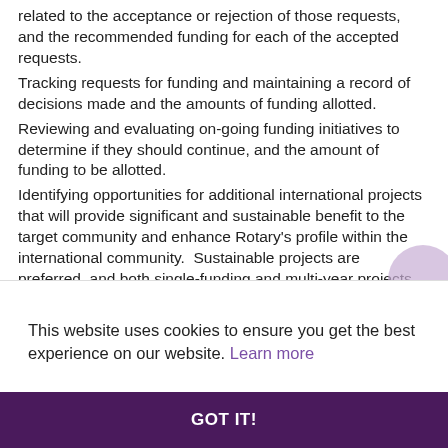related to the acceptance or rejection of those requests, and the recommended funding for each of the accepted requests.
Tracking requests for funding and maintaining a record of decisions made and the amounts of funding allotted.
Reviewing and evaluating on-going funding initiatives to determine if they should continue, and the amount of funding to be allotted.
Identifying opportunities for additional international projects that will provide significant and sustainable benefit to the target community and enhance Rotary's profile within the international community.  Sustainable projects are preferred, and both single-funding and multi-year projects are considered. Thecommittee will
This website uses cookies to ensure you get the best experience on our website. Learn more
GOT IT!